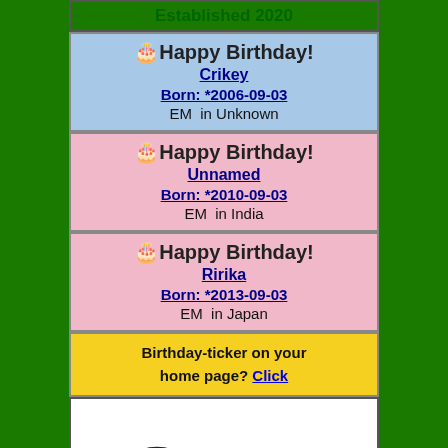Established 2020
🎂Happy Birthday! Crikey Born: *2006-09-03 EM in Unknown
🎂Happy Birthday! Unnamed Born: *2010-09-03 EM in India
🎂Happy Birthday! Ririka Born: *2013-09-03 EM in Japan
Birthday-ticker on your home page? Click
[Figure (illustration): Black and white illustration of an elephant walking]
ELEPHANT NEWS Established 2000
2022-08-29